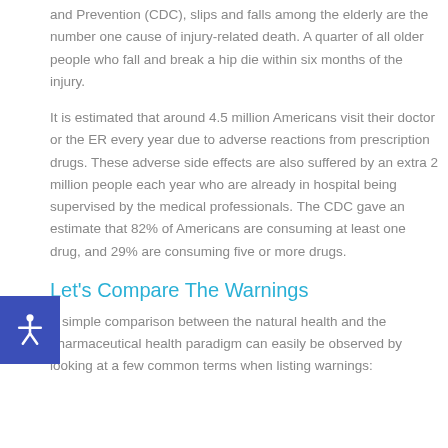and Prevention (CDC), slips and falls among the elderly are the number one cause of injury-related death. A quarter of all older people who fall and break a hip die within six months of the injury.
It is estimated that around 4.5 million Americans visit their doctor or the ER every year due to adverse reactions from prescription drugs. These adverse side effects are also suffered by an extra 2 million people each year who are already in hospital being supervised by the medical professionals. The CDC gave an estimate that 82% of Americans are consuming at least one drug, and 29% are consuming five or more drugs.
Let's Compare The Warnings
A simple comparison between the natural health and the pharmaceutical health paradigm can easily be observed by looking at a few common terms when listing warnings: